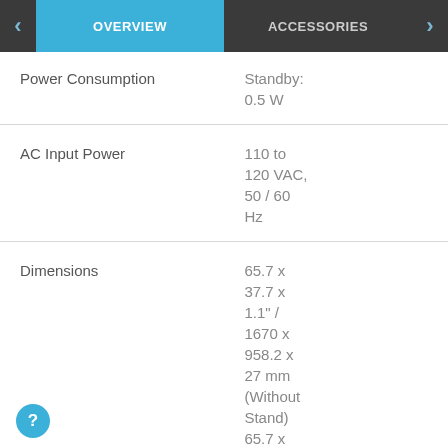OVERVIEW | ACCESSORIES
| Specification | Value |
| --- | --- |
| Power Consumption | Standby: 0.5 W |
| AC Input Power | 110 to 120 VAC, 50 / 60 Hz |
| Dimensions | 65.7 x 37.7 x 1.1" / 1670 x 958.2 x 27 mm (Without Stand) 65.7 x 40.2 x |